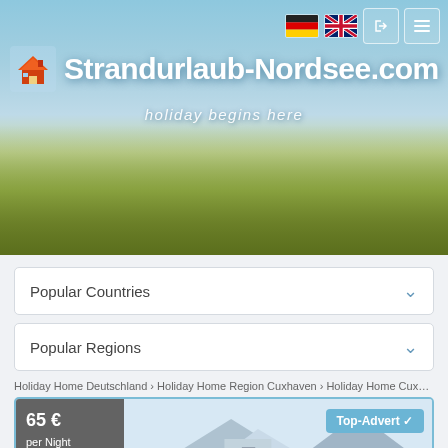[Figure (screenshot): Website header hero image of Strandurlaub-Nordsee.com showing beach dune landscape with blue sky and grass dunes. Navigation bar top-right with German and UK flags and buttons. Logo with house icon and site title.]
Strandurlaub-Nordsee.com
holiday begins here
Popular Countries
Popular Regions
Holiday Home Deutschland › Holiday Home Region Cuxhaven › Holiday Home Cuxha...
65 € per Night for Object
Top-Advert ✓